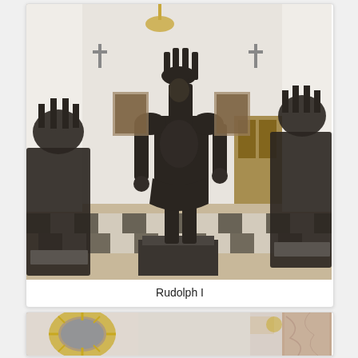[Figure (photo): Photograph of bronze statues of armored medieval figures in an ornate hall. The central figure is a large detailed bronze statue of Rudolph I in full armor with a crown, flanked by similar bronze statues on either side. The hall has a black and white checkered floor and wooden furniture in the background.]
Rudolph I
[Figure (photo): Photograph of a bronze armored statue in an ornate room. The statue wears a helmet and detailed armor. To the left is a decorative oval mirror with a sunburst gilded frame. To the right is a marble column. The room has ornate wall decoration.]